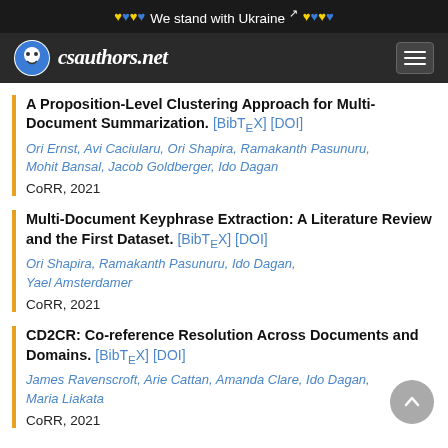We stand with Ukraine
csauthors.net
A Proposition-Level Clustering Approach for Multi-Document Summarization. [BibTeX] [DOI] Ori Ernst, Avi Caciularu, Ori Shapira, Ramakanth Pasunuru, Mohit Bansal, Jacob Goldberger, Ido Dagan. CoRR, 2021
Multi-Document Keyphrase Extraction: A Literature Review and the First Dataset. [BibTeX] [DOI] Ori Shapira, Ramakanth Pasunuru, Ido Dagan, Yael Amsterdamer. CoRR, 2021
CD2CR: Co-reference Resolution Across Documents and Domains. [BibTeX] [DOI] James Ravenscroft, Arie Cattan, Amanda Clare, Ido Dagan, Maria Liakata. CoRR, 2021